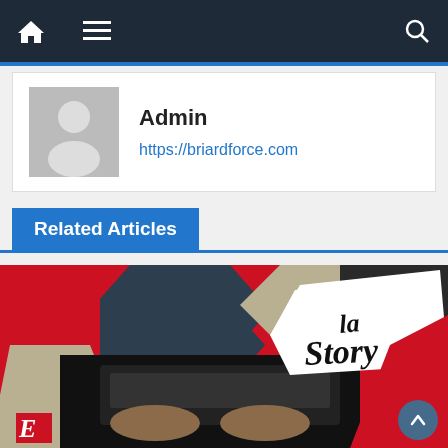Navigation bar with home, menu, and search icons
Admin
https://briardforce.com
Related Articles
[Figure (photo): Article thumbnail image showing hands on a laptop keyboard with a colorful graphic overlay featuring hexagonal shapes in red, dark grey, and beige, with the text 'la Story' prominently displayed in a white speech-bubble shape. An 'E' logo is visible in the bottom left corner.]